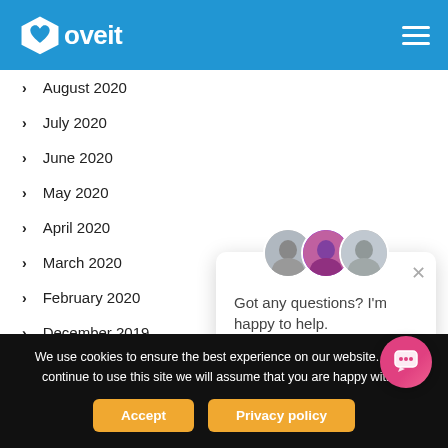Loveit
August 2020
July 2020
June 2020
May 2020
April 2020
March 2020
February 2020
December 2019
[Figure (screenshot): Chat popup with avatars and message: Got any questions? I'm happy to help.]
We use cookies to ensure the best experience on our website. If you continue to use this site we will assume that you are happy with it.
Accept | Privacy policy